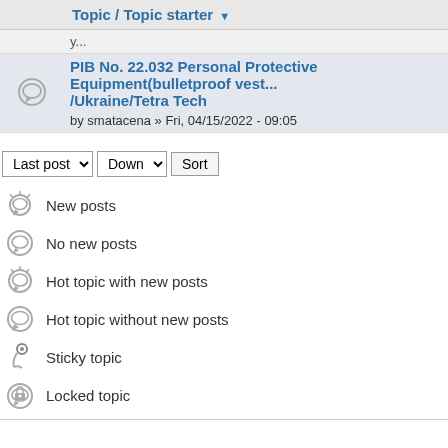|  | Topic / Topic starter ▼ |
| --- | --- |
| [icon] | y... [truncated] |
| [icon] | PIB No. 22.032 Personal Protective Equipment(bulletproof vest.../Ukraine/Tetra Tech
by smatacena » Fri, 04/15/2022 - 09:05 |
Last post | Down | Sort
New posts
No new posts
Hot topic with new posts
Hot topic without new posts
Sticky topic
Locked topic